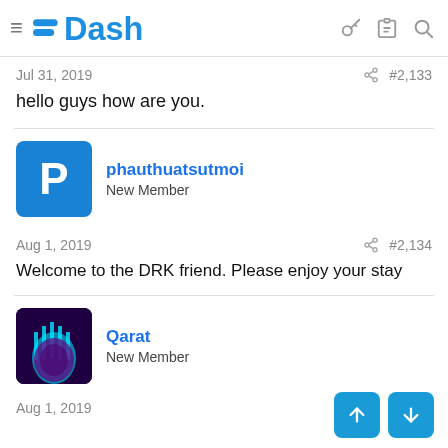Dash
Jul 31, 2019   #2,133
hello guys how are you.
phauthuatsutmoi
New Member
Aug 1, 2019   #2,134
Welcome to the DRK friend. Please enjoy your stay
Qarat
New Member
Aug 1, 2019   #2,135